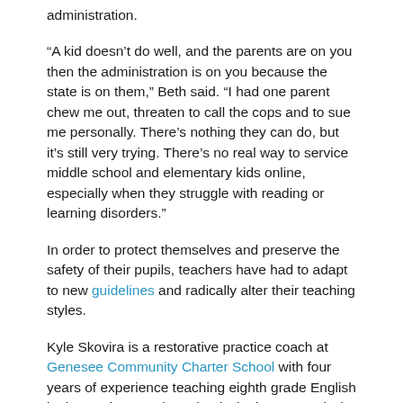administration.
“A kid doesn’t do well, and the parents are on you then the administration is on you because the state is on them,” Beth said. “I had one parent chew me out, threaten to call the cops and to sue me personally. There’s nothing they can do, but it’s still very trying. There’s no real way to service middle school and elementary kids online, especially when they struggle with reading or learning disorders.”
In order to protect themselves and preserve the safety of their pupils, teachers have had to adapt to new guidelines and radically alter their teaching styles.
Kyle Skovira is a restorative practice coach at Genesee Community Charter School with four years of experience teaching eighth grade English in the Rochester City School District. Currently, he teaches a kindergarten to sixth grade social emotional learning class exclusively online. In the past year, he has witnessed a major shift in how academics are structured and how classes are conducted.